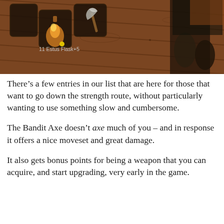[Figure (screenshot): In-game screenshot showing wooden floor planks with Dark Souls style inventory UI. Item slots visible with a glowing flask (Estus Flask+5) and an axe weapon. A dark-armored character's legs visible at the right. Text at bottom left reads '11 Estus Flask+5'.]
There's a few entries in our list that are here for those that want to go down the strength route, without particularly wanting to use something slow and cumbersome.
The Bandit Axe doesn't axe much of you – and in response it offers a nice moveset and great damage.
It also gets bonus points for being a weapon that you can acquire, and start upgrading, very early in the game.